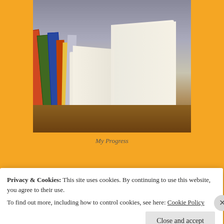[Figure (photo): Stack of books with an open book in the foreground on a wooden surface]
My Progress
#20 Books of Summer '21
[Figure (photo): Partial view of a second image, appears to be a book cover with gradient background]
Privacy & Cookies: This site uses cookies. By continuing to use this website, you agree to their use.
To find out more, including how to control cookies, see here: Cookie Policy
Close and accept